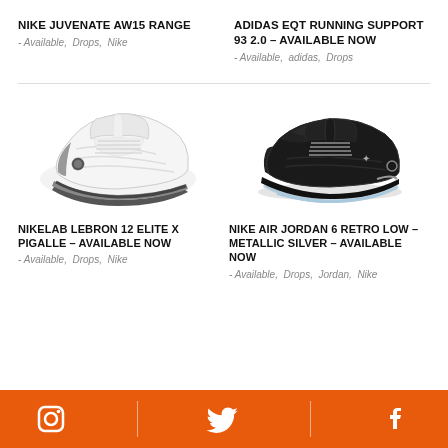NIKE JUVENATE AW15 RANGE
- Available, Drops, Nike
ADIDAS EQT RUNNING SUPPORT 93 2.0 – AVAILABLE NOW
- Available, adidas, Drops
[Figure (photo): White Nike LeBron 12 Elite x Pigalle basketball shoe on white background]
[Figure (photo): Black Nike Air Jordan 6 Retro Low Metallic Silver sneaker on white background]
NIKELAB LEBRON 12 ELITE X PIGALLE – AVAILABLE NOW
- Available, Drops, Nike
NIKE AIR JORDAN 6 RETRO LOW – METALLIC SILVER – AVAILABLE NOW
- Available, Drops, Jordan, Nike
Instagram | Twitter | Facebook